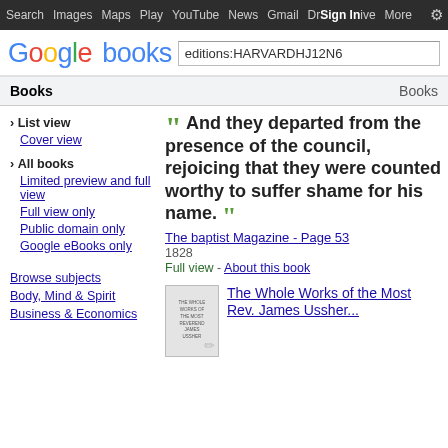Search  Images  Maps  Play  YouTube  News  Gmail  Drive  More  Sign In  ⚙
[Figure (logo): Google books logo with search box containing 'editions:HARVARDHJ12N6']
Books    Books
› List view
Cover view
› All books
Limited preview and full view
Full view only
Public domain only
Google eBooks only
Browse subjects
Body, Mind & Spirit
Business & Economics
“ And they departed from the presence of the council, rejoicing that they were counted worthy to suffer shame for his name. ”
The baptist Magazine - Page 53
1828
Full view - About this book
The Whole Works of the Most Rev. James Ussher...